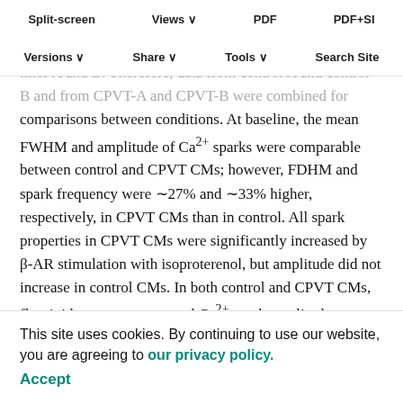Split-screen | Views | PDF | PDF+SI
Versions | Share | Tools | Search Site
comparisons between conditions. At baseline, the mean FWHM and amplitude of Ca2+ sparks were comparable between control and CPVT CMs; however, FDHM and spark frequency were ~27% and ~33% higher, respectively, in CPVT CMs than in control. All spark properties in CPVT CMs were significantly increased by β-AR stimulation with isoproterenol, but amplitude did not increase in control CMs. In both control and CPVT CMs, flecainide treatment restored Ca2+ spark amplitude, FWHM and FDHM to pre-stimulation levels, showing no significant differences from baseline. Notably, spark frequency in CPVT CMs during flecainide treatment was significantly ~10% lower than at baseline, representing levels similar to control CMs at
This site uses cookies. By continuing to use our website, you are agreeing to our privacy policy.
Accept